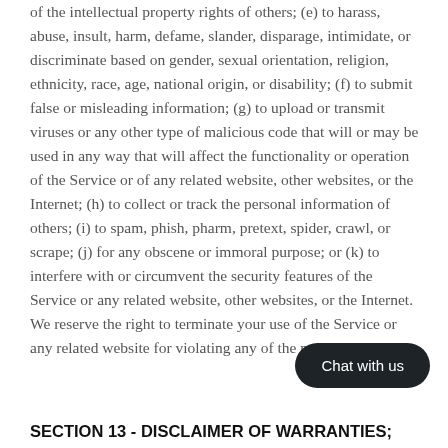of the intellectual property rights of others; (e) to harass, abuse, insult, harm, defame, slander, disparage, intimidate, or discriminate based on gender, sexual orientation, religion, ethnicity, race, age, national origin, or disability; (f) to submit false or misleading information; (g) to upload or transmit viruses or any other type of malicious code that will or may be used in any way that will affect the functionality or operation of the Service or of any related website, other websites, or the Internet; (h) to collect or track the personal information of others; (i) to spam, phish, pharm, pretext, spider, crawl, or scrape; (j) for any obscene or immoral purpose; or (k) to interfere with or circumvent the security features of the Service or any related website, other websites, or the Internet. We reserve the right to terminate your use of the Service or any related website for violating any of the proh
[Figure (other): Chat with us button overlay in bottom right]
SECTION 13 - DISCLAIMER OF WARRANTIES;